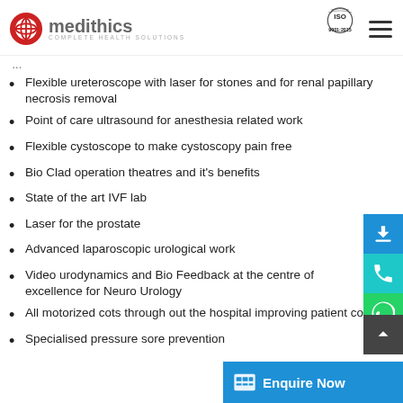medithics COMPLETE HEALTH SOLUTIONS | ISO 9001:2015
... (partial title text cut off)
Flexible ureteroscope with laser for stones and for renal papillary necrosis removal
Point of care ultrasound for anesthesia related work
Flexible cystoscope to make cystoscopy pain free
Bio Clad operation theatres and it's benefits
State of the art IVF lab
Laser for the prostate
Advanced laparoscopic urological work
Video urodynamics and Bio Feedback at the centre of excellence for Neuro Urology
All motorized cots through out the hospital improving patient comfort
Specialised pressure sore prevention...